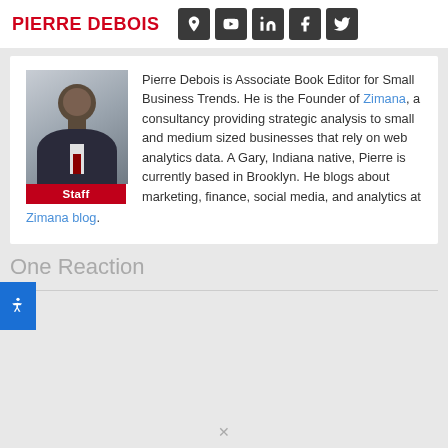PIERRE DEBOIS
[Figure (photo): Profile photo of Pierre Debois, a Black man in a suit, with a red 'Staff' badge below]
Pierre Debois is Associate Book Editor for Small Business Trends. He is the Founder of Zimana, a consultancy providing strategic analysis to small and medium sized businesses that rely on web analytics data. A Gary, Indiana native, Pierre is currently based in Brooklyn. He blogs about marketing, finance, social media, and analytics at Zimana blog.
One Reaction